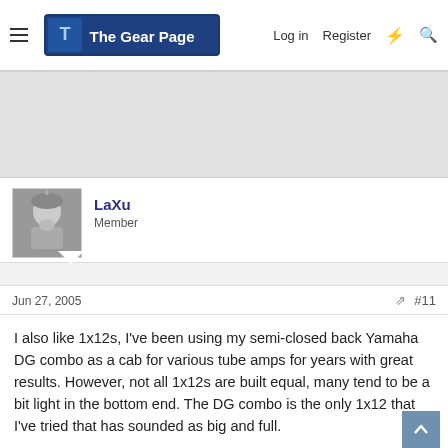The Gear Page — Log in  Register
[Figure (other): Advertisement banner area, light gray background]
LaXu
Member
Jun 27, 2005  #11
I also like 1x12s, I've been using my semi-closed back Yamaha DG combo as a cab for various tube amps for years with great results. However, not all 1x12s are built equal, many tend to be a bit light in the bottom end. The DG combo is the only 1x12 that I've tried that has sounded as big and full.

I wouldn't go with a 1x12 purely for volume reduction though, attenuators are much better for that.